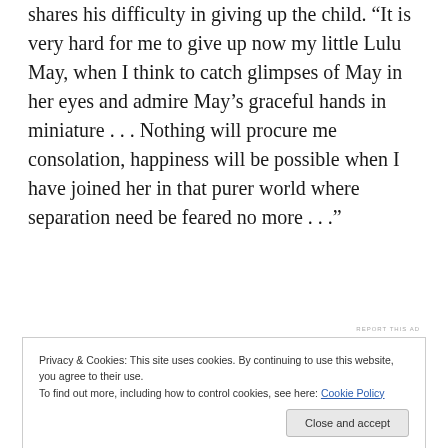shares his difficulty in giving up the child. "It is very hard for me to give up now my little Lulu May, when I think to catch glimpses of May in her eyes and admire May’s graceful hands in miniature . . . Nothing will procure me consolation, happiness will be possible when I have joined her in that purer world where separation need be feared no more . . ."
[Figure (other): Automattic advertisement banner with blue background. Brand name 'AUTOMATTIC' at top and tagline 'Love working again.' below.]
where she crossed her t’s. Knowing what I know about the
Privacy & Cookies: This site uses cookies. By continuing to use this website, you agree to their use.
To find out more, including how to control cookies, see here: Cookie Policy